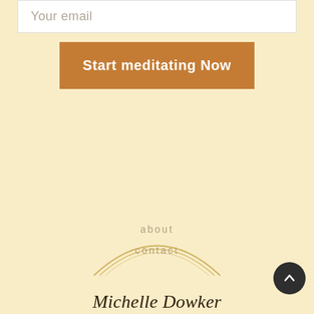Your email
Start meditating Now
about
contact
[Figure (logo): Michelle Dowker logo with arched golden semicircle above handwritten signature name]
[Figure (other): Circular dark scroll-to-top button with upward chevron arrow]